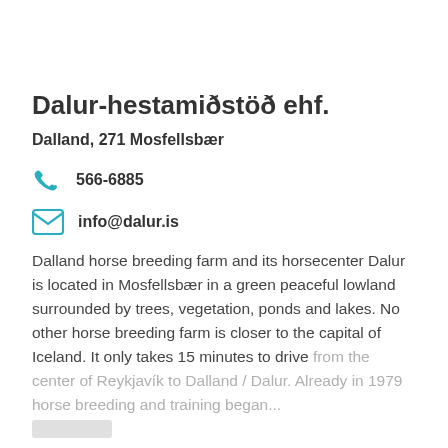Dalur-hestamiðstöð ehf.
Dalland, 271 Mosfellsbær
566-6885
info@dalur.is
Dalland horse breeding farm and its horsecenter Dalur is located in Mosfellsbær in a green peaceful lowland surrounded by trees, vegetation, ponds and lakes. No other horse breeding farm is closer to the capital of Iceland. It only takes 15 minutes to drive from the center of Reykjavík to Dalland / Dalur. Already in 1979 horse breeding and training began...